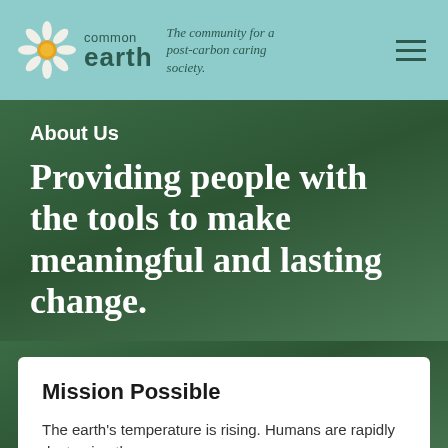common earth — The community for a post-carbon caring society.
About Us
Providing people with the tools to make meaningful and lasting change.
Mission Possible
The earth's temperature is rising. Humans are rapidly destroying the